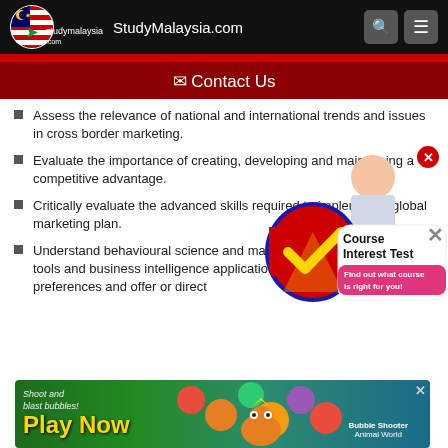StudyMalaysia.com
✉ Contact Us
Assess the relevance of national and international trends and issues in cross border marketing.
Evaluate the importance of creating, developing and maintaining a competitive advantage.
Critically evaluate the advanced skills required to implement a global marketing plan.
Understand behavioural science and marketing analytics' skills on tools and business intelligence applications allows to track user preferences and offer or direct
[Figure (illustration): Course Interest Test promotional overlay with StudyMalaysia logo checkmark and a female student thinking; text reads 'Course Interest Test - Find out what course is right for you!']
[Figure (illustration): Bottom banner advertisement: 'Shoot and blast bubbles! Play Now - Bubble Shooter Animal World']